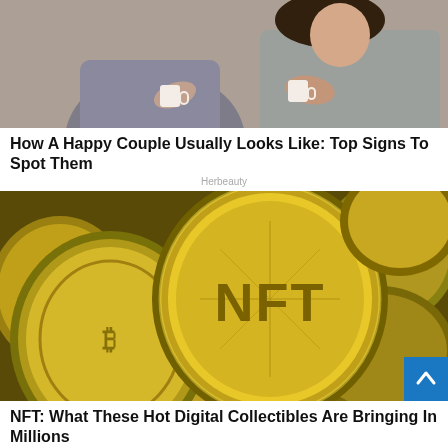[Figure (photo): Photo of a happy couple sitting on a couch, each holding a coffee cup, wearing casual clothes]
How A Happy Couple Usually Looks Like: Top Signs To Spot Them
Herbeauty
[Figure (photo): Photo of multiple golden NFT coins piled together, with 'NFT' embossed on the front coin]
NFT: What These Hot Digital Collectibles Are Bringing In Millions
Brainberries